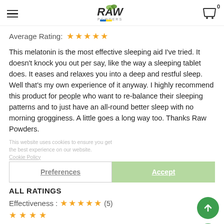RAW Powders logo, hamburger menu, cart icon with 0
Average Rating: ★★★★★
This melatonin is the most effective sleeping aid I've tried. It doesn't knock you out per say, like the way a sleeping tablet does. It eases and relaxes you into a deep and restful sleep. Well that's my own experience of it anyway. I highly recommend this product for people who want to re-balance their sleeping patterns and to just have an all-round better sleep with no morning grogginess. A little goes a long way too. Thanks Raw Powders.
This website uses cookies to ensure you get the best experience on our website. Cookie Policy
Preferences  Accept
ALL RATINGS
Effectiveness : ★★★★★ (5)
★★★★